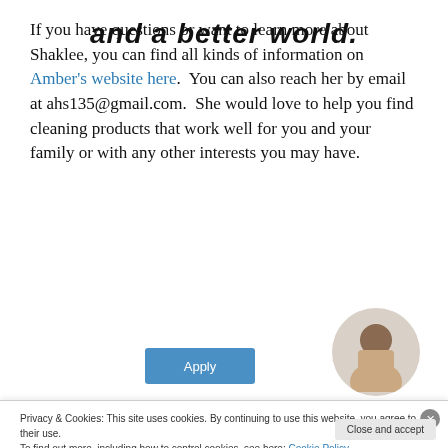If you have questions or want to learn more about Shaklee, you can find all kinds of information on Amber's website here.  You can also reach her by email at ahs135@gmail.com.  She would love to help you find cleaning products that work well for you and your family or with any other interests you may have.
[Figure (screenshot): Partial banner text reading 'and a better world.' in bold italic, with an Apply button in blue and a circular photo of a man thinking]
Privacy & Cookies: This site uses cookies. By continuing to use this website, you agree to their use.
To find out more, including how to control cookies, see here: Cookie Policy
Close and accept